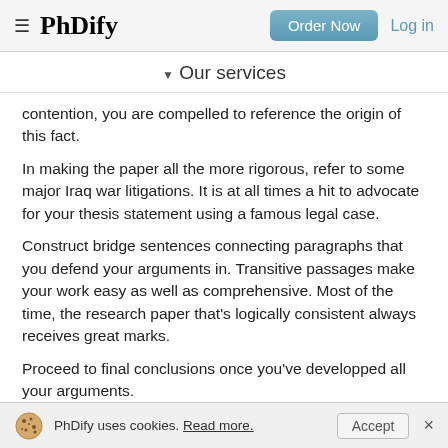≡ PhDify  Order Now  Log in
▼ Our services
contention, you are compelled to reference the origin of this fact.
In making the paper all the more rigorous, refer to some major Iraq war litigations. It is at all times a hit to advocate for your thesis statement using a famous legal case.
Construct bridge sentences connecting paragraphs that you defend your arguments in. Transitive passages make your work easy as well as comprehensive. Most of the time, the research paper that's logically consistent always receives great marks.
Proceed to final conclusions once you've developped all your arguments.
More often than not, you are required to provide your
PhDify uses cookies. Read more.  Accept  ×